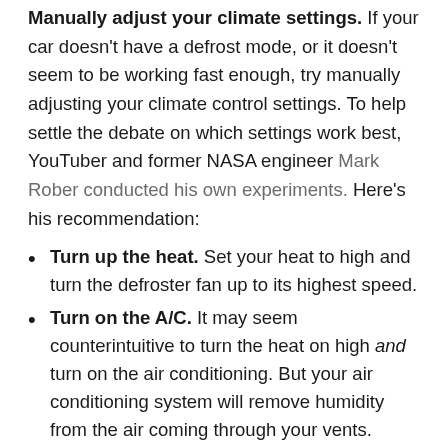Manually adjust your climate settings. If your car doesn't have a defrost mode, or it doesn't seem to be working fast enough, try manually adjusting your climate control settings. To help settle the debate on which settings work best, YouTuber and former NASA engineer Mark Rober conducted his own experiments. Here's his recommendation:
Turn up the heat. Set your heat to high and turn the defroster fan up to its highest speed.
Turn on the A/C. It may seem counterintuitive to turn the heat on high and turn on the air conditioning. But your air conditioning system will remove humidity from the air coming through your vents.
Turn off air recirculation. The icon for this button probably looks like a U-turn arrow inside an outline of your vehicle. When it's on, the car